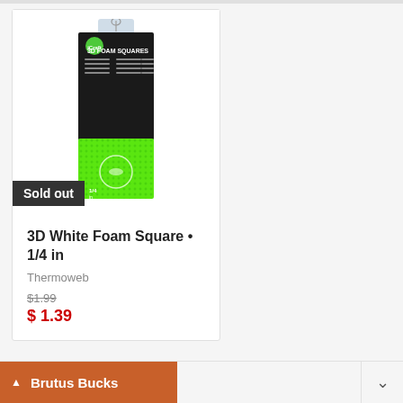[Figure (photo): Product listing card showing a package of iCraft 3D Foam Squares with a black top and bright green/lime bottom, with a 'Sold out' badge overlay]
3D White Foam Square • 1/4 in
Thermoweb
$1.99
$1.39
Brutus Bucks